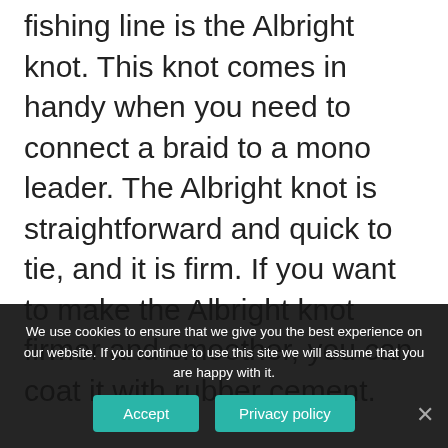fishing line is the Albright knot. This knot comes in handy when you need to connect a braid to a mono leader. The Albright knot is straightforward and quick to tie, and it is firm. If you want to make the Albright knot firmer and smoother, you can coat it with rubber cement.
To start tying the Albright Knot, create a loop in the mono-leader. Then, run the ... create a neat wrap of the braid around the loop and itself, from top to bottom, ten times. Also, run the end back via the
We use cookies to ensure that we give you the best experience on our website. If you continue to use this site we will assume that you are happy with it.